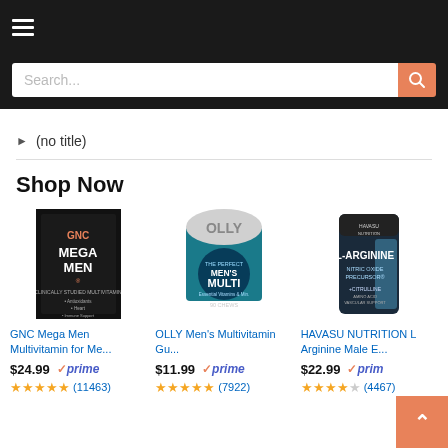Navigation header with hamburger menu
Search...
(no title)
Shop Now
[Figure (photo): GNC Mega Men black box product photo]
GNC Mega Men Multivitamin for Me...
$24.99 prime (11463 reviews)
[Figure (photo): OLLY Men's Multi gummy bottle product photo]
OLLY Men's Multivitamin Gu...
$11.99 prime (7922 reviews)
[Figure (photo): Havasu Nutrition L-Arginine blue bottle product photo]
HAVASU NUTRITION L Arginine Male E...
$22.99 prime (4467 reviews)